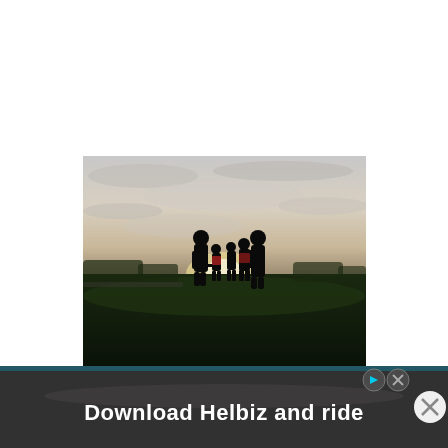[Figure (photo): Silhouette of a family with adults and children holding hands standing in a green field at sunset/dusk with a cloudy sky behind them.]
[Figure (photo): Advertisement banner showing a bicycle handlebar with text 'Download Helbiz and ride' with ad controls (play button and close X icons) visible.]